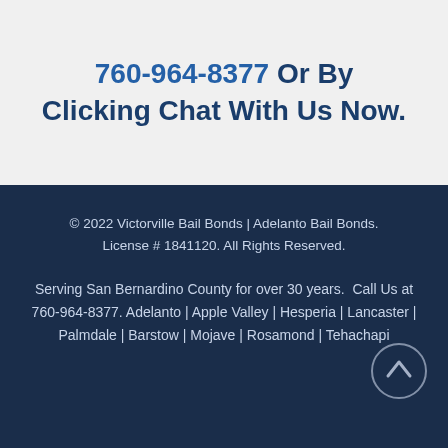760-964-8377 Or By Clicking Chat With Us Now.
© 2022 Victorville Bail Bonds | Adelanto Bail Bonds. License # 1841120. All Rights Reserved.
Serving San Bernardino County for over 30 years.  Call Us at 760-964-8377. Adelanto | Apple Valley | Hesperia | Lancaster | Palmdale | Barstow | Mojave | Rosamond | Tehachapi